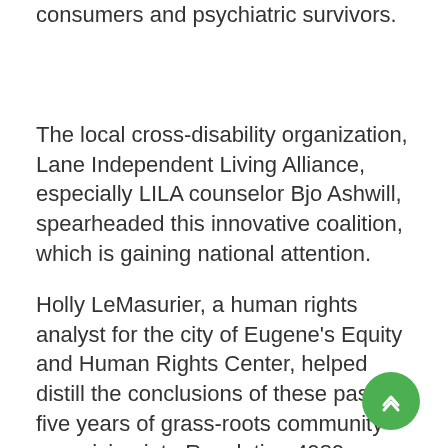consumers and psychiatric survivors.
The local cross-disability organization, Lane Independent Living Alliance, especially LILA counselor Bjo Ashwill, spearheaded this innovative coalition, which is gaining national attention.
Holly LeMasurier, a human rights analyst for the city of Eugene's Equity and Human Rights Center, helped distill the conclusions of these past five years of grass-roots community organizing into Resolution 4989, which the City Council